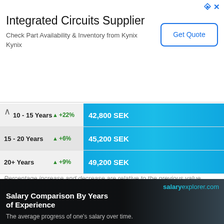[Figure (infographic): Advertisement banner for Integrated Circuits Supplier - Kynix with Get Quote button]
[Figure (bar-chart): Salary Comparison by Years of Experience]
Percentage increase and decrease are relative to the previous value
Typical Salary Progress for Most Careers
[Figure (screenshot): Salary Comparison By Years of Experience chart preview from salaryexplorer.com. The average progress of one's salary over time.]